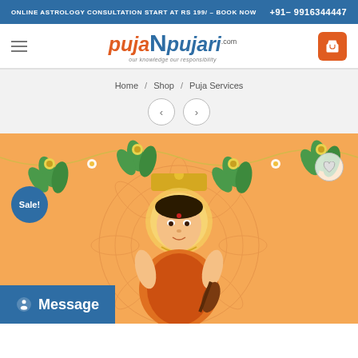ONLINE ASTROLOGY CONSULTATION START AT RS 199/ - BOOK NOW   +91- 9916344447
[Figure (logo): PujaNpujari.com logo with tagline 'our knowledge our responsibility']
Home / Shop / Puja Services
[Figure (photo): Hindu goddess illustration (Saraswati) on orange background with decorative garland and mandala pattern. Sale badge on left, heart icon top right, Message button bottom left.]